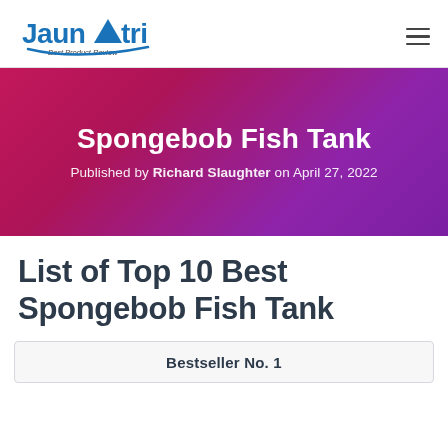Jaunatri – Best Product Review
Spongebob Fish Tank
Published by Richard Slaughter on April 27, 2022
List of Top 10 Best Spongebob Fish Tank
Bestseller No. 1